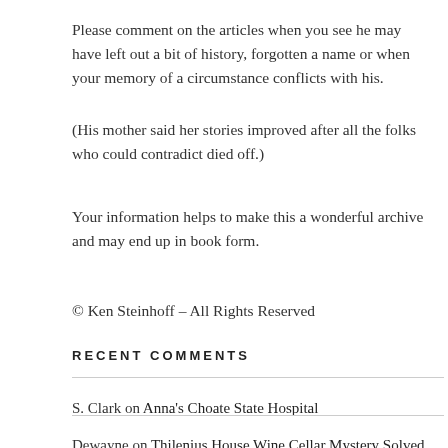Please comment on the articles when you see he may have left out a bit of history, forgotten a name or when your memory of a circumstance conflicts with his.
(His mother said her stories improved after all the folks who could contradict died off.)
Your information helps to make this a wonderful archive and may end up in book form.
© Ken Steinhoff – All Rights Reserved
RECENT COMMENTS
S. Clark on Anna's Choate State Hospital
Dewayne on Thilenius House Wine Cellar Mystery Solved